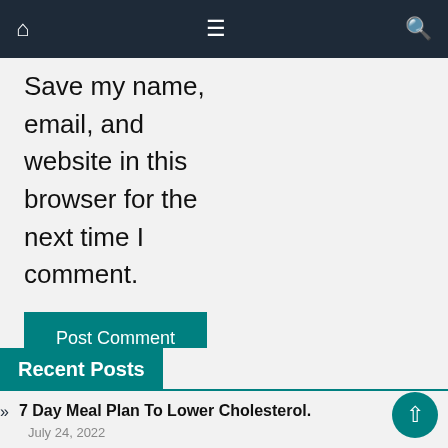Navigation bar with home icon, menu icon, and search icon
Save my name, email, and website in this browser for the next time I comment.
Post Comment
Recent Posts
7 Day Meal Plan To Lower Cholesterol.
July 24, 2022
Types of Nutrition And Nutrition Deficiency Diseases
July 1, 2022